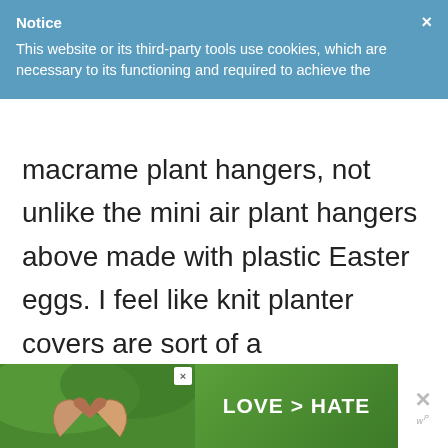Notice — This website or its third-party tools use cookies, which are necessary to its functioning and required to achieve the
macrame plant hangers, not unlike the mini air plant hangers above made with plastic Easter eggs. I feel like knit planter covers are sort of a contemporary take on retro plant hangers, and I love the way they look! I might have to try my hand at one of these, but I'm curious to find out how they stand up to water overflow and dirt. What projects are you curious to try this weekend?
[Figure (other): Advertisement banner showing hands making a heart shape with text LOVE > HATE on green background]